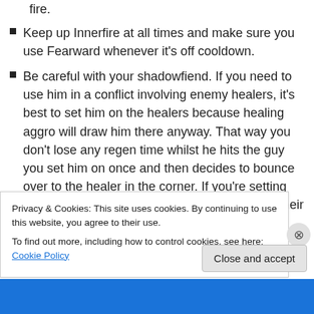fire.
Keep up Innerfire at all times and make sure you use Fearward whenever it's off cooldown.
Be careful with your shadowfiend. If you need to use him in a conflict involving enemy healers, it's best to set him on the healers because healing aggro will draw him there anyway. That way you don't lose any regen time whilst he hits the guy you set him on once and then decides to bounce over to the healer in the corner. If you're setting him on another Priest, try to either make sure their fear is on cooldown first or use your
Privacy & Cookies: This site uses cookies. By continuing to use this website, you agree to their use.
To find out more, including how to control cookies, see here: Cookie Policy
Close and accept